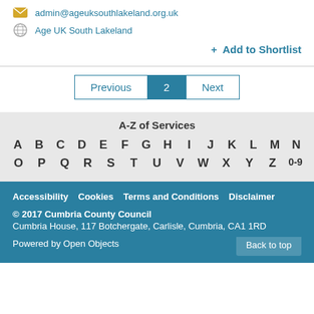admin@ageuksouthlakeland.org.uk
Age UK South Lakeland
+ Add to Shortlist
Previous | 2 | Next
A-Z of Services
A B C D E F G H I J K L M N O P Q R S T U V W X Y Z 0-9
Accessibility Cookies Terms and Conditions Disclaimer © 2017 Cumbria County Council Cumbria House, 117 Botchergate, Carlisle, Cumbria, CA1 1RD Powered by Open Objects